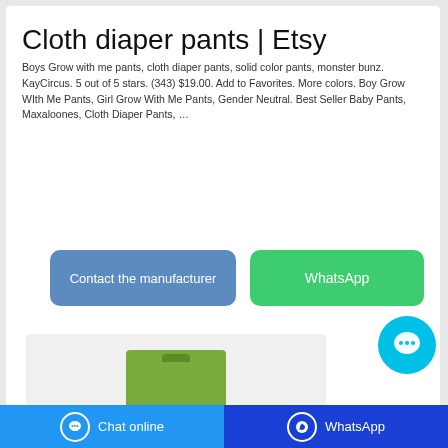Cloth diaper pants | Etsy
Boys Grow with me pants, cloth diaper pants, solid color pants, monster bunz. KayCircus. 5 out of 5 stars. (343) $19.00. Add to Favorites. More colors. Boy Grow WIth Me Pants, Girl Grow With Me Pants, Gender Neutral. Best Seller Baby Pants, Maxaloones, Cloth Diaper Pants, …
[Figure (screenshot): Blue rounded button labeled 'Contact the manufacturer']
[Figure (screenshot): Green rounded button labeled 'WhatsApp']
[Figure (screenshot): Cyan chat bubble icon with three dots]
[Figure (photo): Product image showing a green box labeled 'bubu bear BABY DRY' on a light gray background]
Chat online   WhatsApp